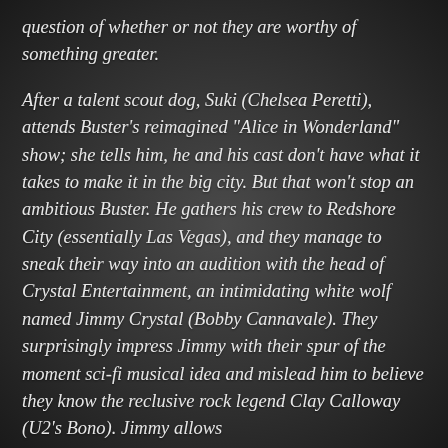question of whether or not they are worthy of something greater.

After a talent scout dog, Suki (Chelsea Peretti), attends Buster's reimagined "Alice in Wonderland" show; she tells him, he and his cast don't have what it takes to make it in the big city. But that won't stop an ambitious Buster. He gathers his crew to Redshore City (essentially Las Vegas), and they manage to sneak their way into an audition with the head of Crystal Entertainment, an intimidating white wolf named Jimmy Crystal (Bobby Cannavale). They surprisingly impress Jimmy with their spur of the moment sci-fi musical idea and mislead him to believe they know the reclusive rock legend Clay Calloway (U2's Bono). Jimmy allows